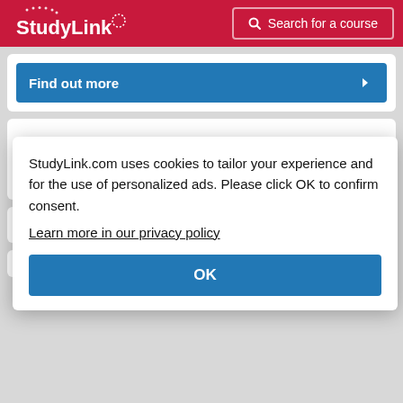StudyLink  Search for a course
Find out more
[Figure (logo): University of Kent logo with italic Kent text in dark blue]
StudyLink.com uses cookies to tailor your experience and for the use of personalized ads. Please click OK to confirm consent. Learn more in our privacy policy
OK